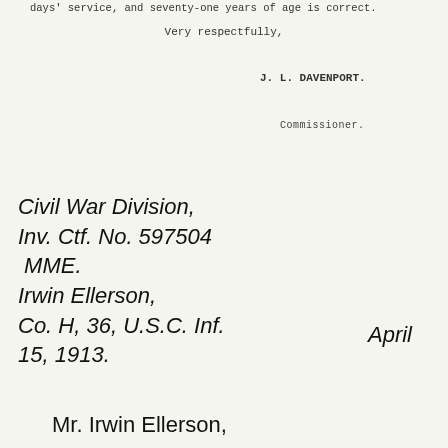days' service, and seventy-one years of age is correct.
Very respectfully,
J. L. DAVENPORT.
Commissioner.
Civil War Division,
Inv. Ctf. No. 597504
 MME.
Irwin Ellerson,
Co. H, 36, U.S.C. Inf.
15, 1913.
April
Mr. Irwin Ellerson,